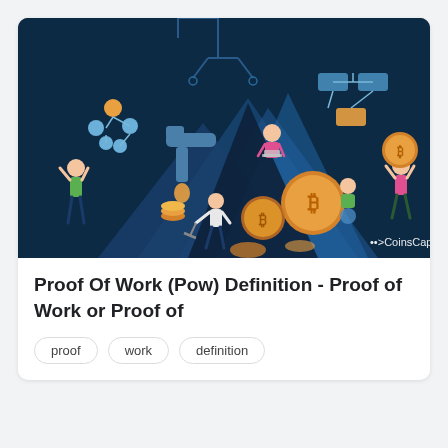[Figure (illustration): Cryptocurrency mining illustration on dark teal background. Shows animated characters: a person mining with a pickaxe, a person sitting on a mountain using a laptop, a person holding a large Bitcoin coin overhead, a person crouching with a globe, a water faucet dripping golden coins, a network/blockchain tree diagram, a Bitcoin stack, and the CoinsCapture logo in the bottom right corner. Dark blue/navy background with blue mountain shapes.]
Proof Of Work (Pow) Definition - Proof of Work or Proof of
proof
work
definition